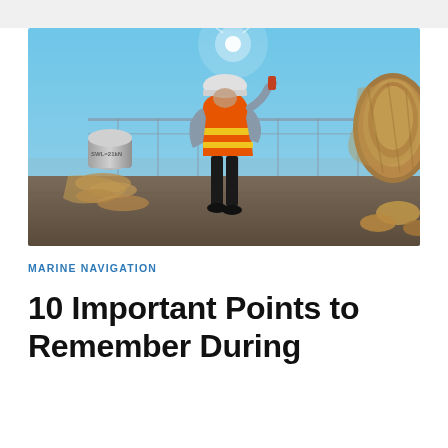[Figure (photo): A worker in an orange high-visibility safety vest and hard hat stands on a ship deck holding a radio/device, surrounded by thick mooring ropes and nautical equipment, with a bright sun and blue sky in the background.]
MARINE NAVIGATION
10 Important Points to Remember During